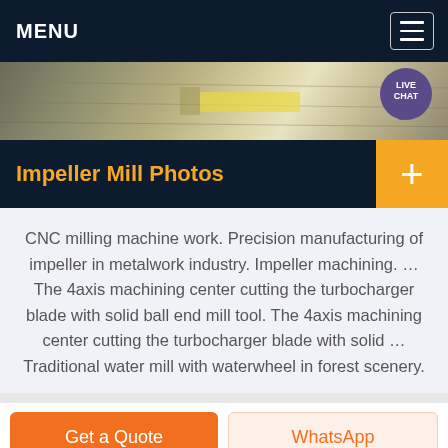MENU
[Figure (photo): CNC milling machine / industrial machining photo with LIVE CHAT bubble overlay]
Impeller Mill Photos
CNC milling machine work. Precision manufacturing of impeller in metalwork industry. Impeller machining. … The 4axis machining center cutting the turbocharger blade with solid ball end mill tool. The 4axis machining center cutting the turbocharger blade with solid … Traditional water mill with waterwheel in forest scenery.
Get a Quote
WhatsApp